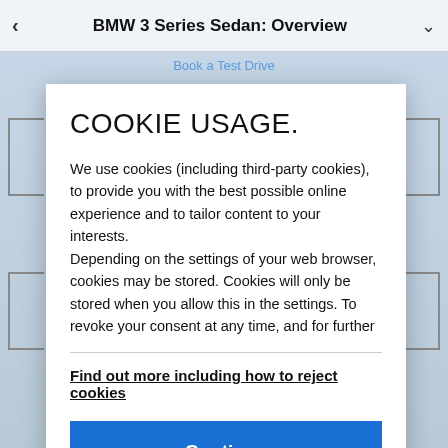BMW 3 Series Sedan: Overview
COOKIE USAGE.
We use cookies (including third-party cookies), to provide you with the best possible online experience and to tailor content to your interests.
Depending on the settings of your web browser, cookies may be stored. Cookies will only be stored when you allow this in the settings. To revoke your consent at any time, and for further
Find out more including how to reject cookies
Continue